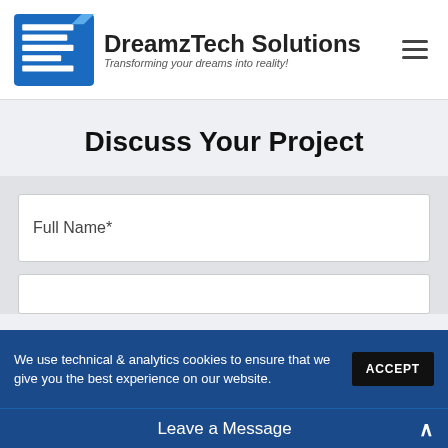DreamzTech Solutions — Transforming your dreams into reality!
Discuss Your Project
Full Name*
We use technical & analytics cookies to ensure that we give you the best experience on our website.
Leave a Message